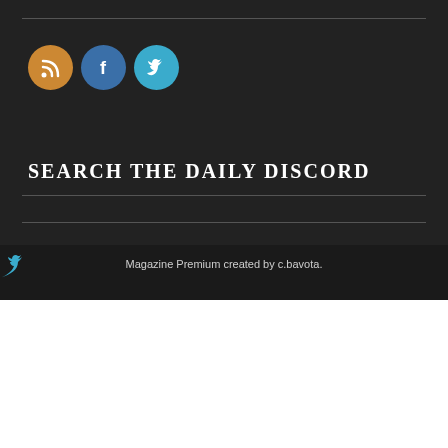[Figure (infographic): Three social media icon circles: RSS (orange), Facebook (blue), Twitter (cyan/teal)]
SEARCH THE DAILY DISCORD
Magazine Premium created by c.bavota.